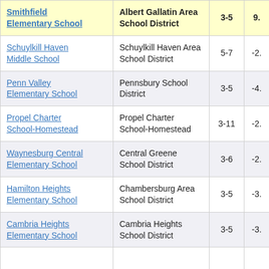| School | District | Grades | Score |
| --- | --- | --- | --- |
| Smithfield Elementary School | Albert Gallatin Area School District | 3-5 | 9. |
| Schuylkill Haven Middle School | Schuylkill Haven Area School District | 5-7 | -2. |
| Penn Valley Elementary School | Pennsbury School District | 3-5 | -4. |
| Propel Charter School-Homestead | Propel Charter School-Homestead | 3-11 | -2. |
| Waynesburg Central Elementary School | Central Greene School District | 3-6 | -2. |
| Hamilton Heights Elementary School | Chambersburg Area School District | 3-5 | -3. |
| Cambria Heights Elementary School | Cambria Heights School District | 3-5 | -3. |